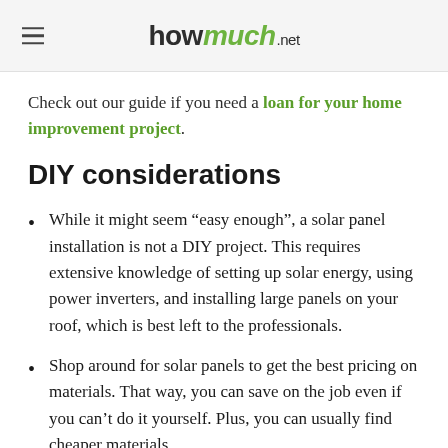howmuch.net
Check out our guide if you need a loan for your home improvement project.
DIY considerations
While it might seem “easy enough”, a solar panel installation is not a DIY project. This requires extensive knowledge of setting up solar energy, using power inverters, and installing large panels on your roof, which is best left to the professionals.
Shop around for solar panels to get the best pricing on materials. That way, you can save on the job even if you can’t do it yourself. Plus, you can usually find cheaper materials…